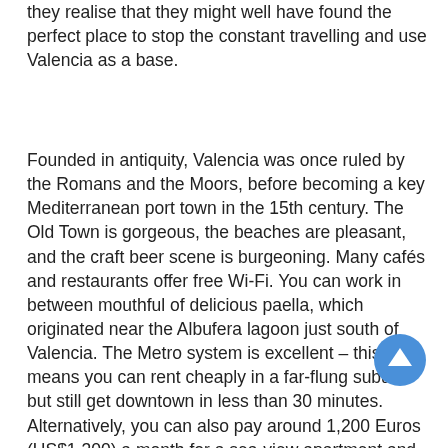they realise that they might well have found the perfect place to stop the constant travelling and use Valencia as a base.
Founded in antiquity, Valencia was once ruled by the Romans and the Moors, before becoming a key Mediterranean port town in the 15th century. The Old Town is gorgeous, the beaches are pleasant, and the craft beer scene is burgeoning. Many cafés and restaurants offer free Wi-Fi. You can work in between mouthful of delicious paella, which originated near the Albufera lagoon just south of Valencia. The Metro system is excellent – this means you can rent cheaply in a far-flung suburb but still get downtown in less than 30 minutes. Alternatively, you can also pay around 1,200 Euros (US$1,300) a month for a sea-view apartment and jog along its